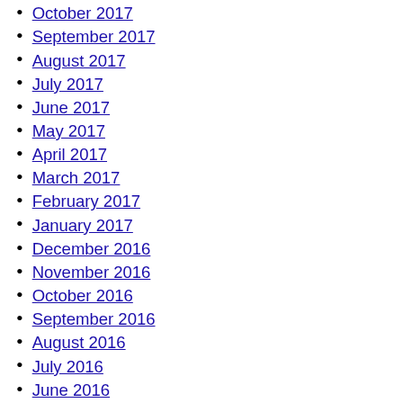October 2017
September 2017
August 2017
July 2017
June 2017
May 2017
April 2017
March 2017
February 2017
January 2017
December 2016
November 2016
October 2016
September 2016
August 2016
July 2016
June 2016
May 2016
April 2016
March 2016
February 2016
January 2016
December 2015
November 2015
October 2015